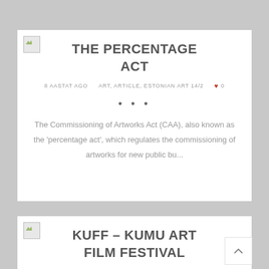THE PERCENTAGE ACT
8 AASTAT AGO    ART, ARTICLE, ESTONIAN ART 14/2    ♥ 0
• • •
The Commissioning of Artworks Act (CAA), also known as the 'percentage act', which regulates the commissioning of artworks for new public bu...
KUFF – KUMU ART FILM FESTIVAL
8 AASTAT AGO    ART, ESTONIAN ART 14/2, NEWS    ♥ 0
• • •